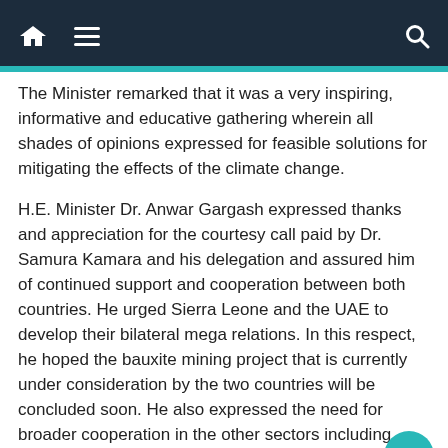Navigation bar with home, menu, and search icons
The Minister remarked that it was a very inspiring, informative and educative gathering wherein all shades of opinions expressed for feasible solutions for mitigating the effects of the climate change.
H.E. Minister Dr. Anwar Gargash expressed thanks and appreciation for the courtesy call paid by Dr. Samura Kamara and his delegation and assured him of continued support and cooperation between both countries. He urged Sierra Leone and the UAE to develop their bilateral mega relations. In this respect, he hoped the bauxite mining project that is currently under consideration by the two countries will be concluded soon. He also expressed the need for broader cooperation in the other sectors including agri-business and fisheries.
Distributed by APO (African Press Organization) on behalf of